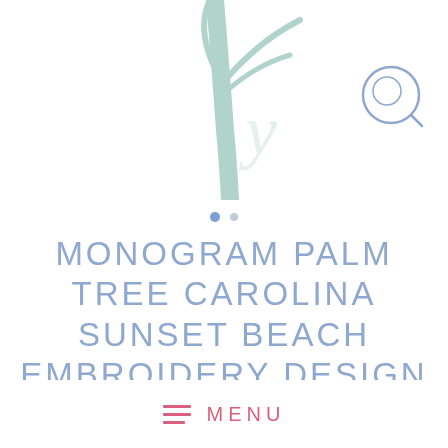[Figure (illustration): Partial palm tree embroidery design illustration in light mint/teal color, cropped at top of page. A cursive letter visible beneath the palm fronds.]
[Figure (other): Search icon — circle with magnifying glass handle outline, in light blue color, positioned top right.]
MONOGRAM PALM TREE CAROLINA SUNSET BEACH EMBROIDERY DESIGN
$2.75
[Figure (other): Menu bar at bottom with hamburger icon (three horizontal pink lines) and MENU text in pink.]